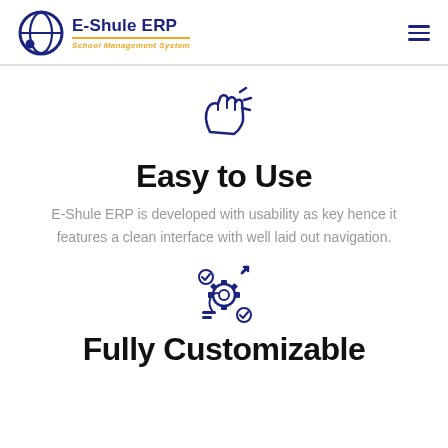[Figure (logo): E-Shule ERP logo with circular globe icon, bold navy blue text 'E-Shule ERP', orange underline, and italic orange subtitle 'School Management System']
[Figure (illustration): Hand snapping fingers icon with motion lines, drawn in navy blue outline style]
Easy to Use
E-Shule ERP is developed with usability as key hence it features a clean interface with well laid out navigation.
[Figure (illustration): Gear with checkmark, lightbulb, upward arrow, and tools icon in navy blue, representing customization/settings]
Fully Customizable